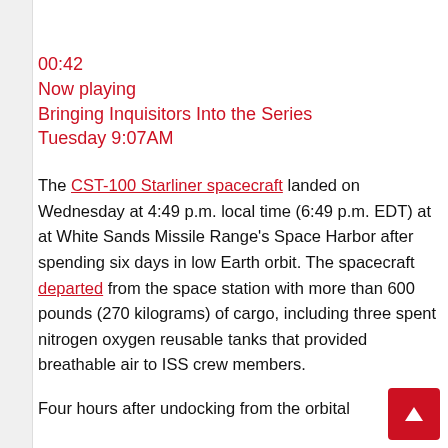00:42
Now playing
Bringing Inquisitors Into the Series
Tuesday 9:07AM
The CST-100 Starliner spacecraft landed on Wednesday at 4:49 p.m. local time (6:49 p.m. EDT) at at White Sands Missile Range's Space Harbor after spending six days in low Earth orbit. The spacecraft departed from the space station with more than 600 pounds (270 kilograms) of cargo, including three spent nitrogen oxygen reusable tanks that provided breathable air to ISS crew members.
Four hours after undocking from the orbital